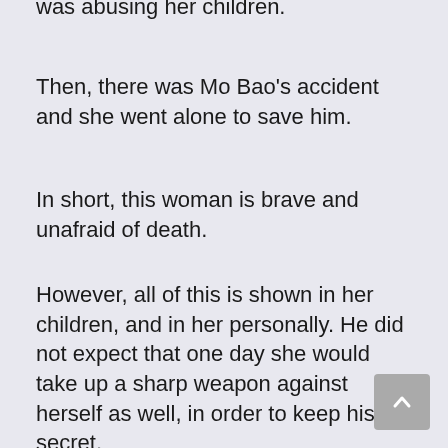was abusing her children.
Then, there was Mo Bao's accident and she went alone to save him.
In short, this woman is brave and unafraid of death.
However, all of this is shown in her children, and in her personally. He did not expect that one day she would take up a sharp weapon against herself as well, in order to keep his secret.